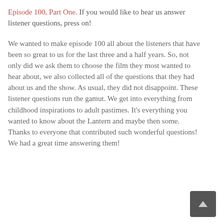Episode 100, Part One. If you would like to hear us answer listener questions, press on!
We wanted to make episode 100 all about the listeners that have been so great to us for the last three and a half years. So, not only did we ask them to choose the film they most wanted to hear about, we also collected all of the questions that they had about us and the show. As usual, they did not disappoint. These listener questions run the gamut. We get into everything from childhood inspirations to adult pastimes. It's everything you wanted to know about the Lantern and maybe then some. Thanks to everyone that contributed such wonderful questions! We had a great time answering them!